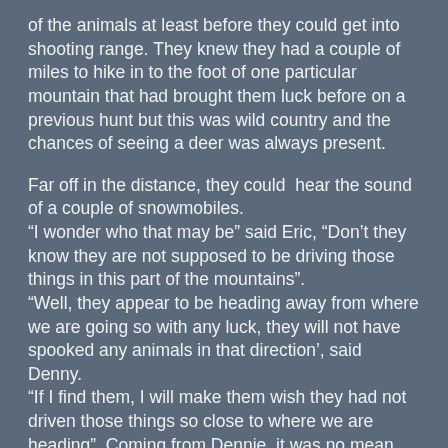of the animals at least before they could get into shooting range. They knew they had a couple of miles to hike in to the foot of one particular mountain that had brought them luck before on a previous hunt but this was wild country and the chances of seeing a deer was always present.
Far off in the distance, they could  hear the sound of a couple of snowmobiles.
"I wonder who that may be" said Eric, "Don't they know they are not supposed to be driving those things in this part of the mountains".
"Well, they appear to be heading away from where we are going so with any luck, they will not have spooked any animals in that direction', said Denny.
"If I find them, I will make them wish they had not driven those things so close to where we are heading". Coming from Dennie, it was no mean threat so we had to hope that our paths would not cross.
We continued on our way knowing that we had at least another hour of hiking to get to the area we had selected to hunt. Walking in new snow may appear romantic and the stuff that songs are made of but in reality, it is very hard work. We came to clearing